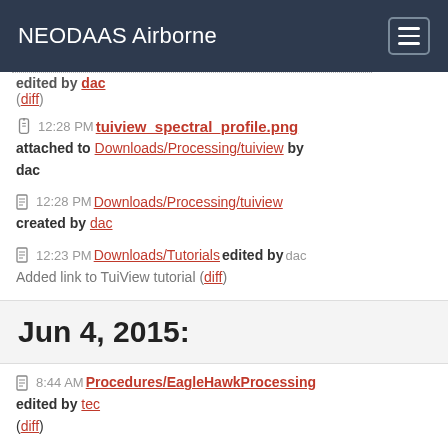NEODAAS Airborne
edited by dac
(diff)
12:28 PM tuiview_spectral_profile.png attached to Downloads/Processing/tuiview by dac
12:28 PM Downloads/Processing/tuiview created by dac
12:23 PM Downloads/Tutorials edited by dac
Added link to TuiView tutorial (diff)
Jun 4, 2015:
8:44 AM Procedures/EagleHawkProcessing edited by tec
(diff)